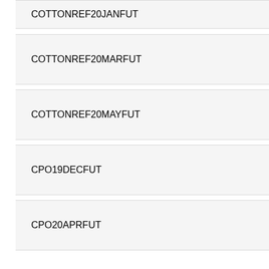COTTONREF20JANFUT
COTTONREF20MARFUT
COTTONREF20MAYFUT
CPO19DECFUT
CPO20APRFUT
CPO20FEBFUT
CPO20JANFUT
CPO20MARFUT
CPODEC19FEB20FUT
CPODEC19JAN20FUT